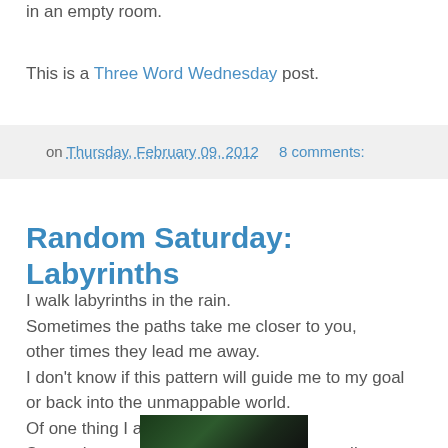in an empty room.
This is a Three Word Wednesday post.
on Thursday, February 09, 2012   8 comments:
Random Saturday: Labyrinths
I walk labyrinths in the rain.
Sometimes the paths take me closer to you,
other times they lead me away.
I don't know if this pattern will guide me to my goal
or back into the unmappable world.
Of one thing I am certain, though:
Somewhere you too meander circuitous trails,
and I wonder if you ever think of me
as you walk labyrinths in the rain.
[Figure (photo): Dark photo, possibly forest or trees at night]